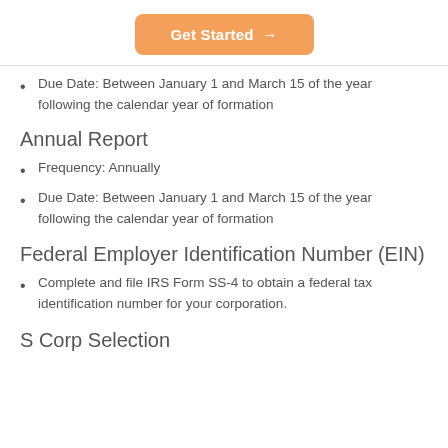[Figure (other): Orange 'Get Started →' button]
Due Date: Between January 1 and March 15 of the year following the calendar year of formation
Annual Report
Frequency: Annually
Due Date: Between January 1 and March 15 of the year following the calendar year of formation
Federal Employer Identification Number (EIN)
Complete and file IRS Form SS-4 to obtain a federal tax identification number for your corporation.
S Corp Selection